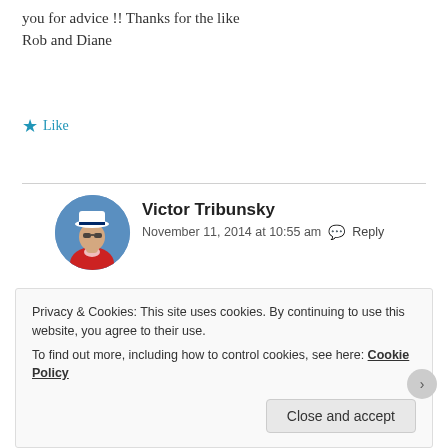you for advice !! Thanks for the like Rob and Diane
★ Like
Victor Tribunsky
November 11, 2014 at 10:55 am  Reply
Thank you very much, Rob and Diane. I will do my best.
Privacy & Cookies: This site uses cookies. By continuing to use this website, you agree to their use.
To find out more, including how to control cookies, see here: Cookie Policy
Close and accept